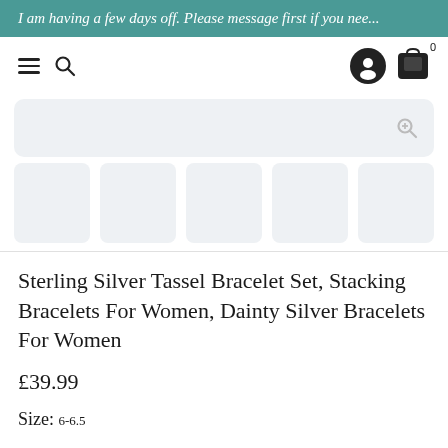I am having a few days off. Please message first if you nee...
[Figure (screenshot): Navigation bar with hamburger menu, search icon, account icon, and shopping bag icon with 0 badge]
[Figure (photo): Main product image placeholder (light grey rounded rectangle with magnify icon)]
[Figure (photo): Row of 5 thumbnail image placeholders (light grey rounded rectangles)]
Sterling Silver Tassel Bracelet Set, Stacking Bracelets For Women, Dainty Silver Bracelets For Women
£39.99
Size: 6-6.5